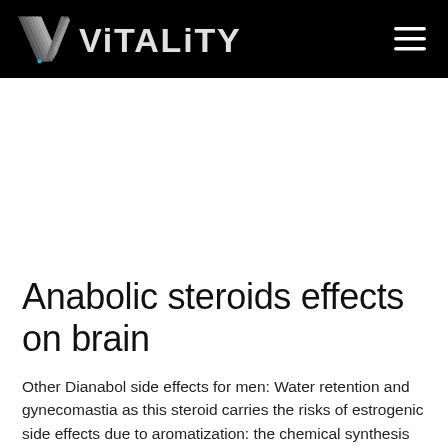VITALITY
Anabolic steroids effects on brain
Other Dianabol side effects for men: Water retention and gynecomastia as this steroid carries the risks of estrogenic side effects due to aromatization: the chemical synthesis